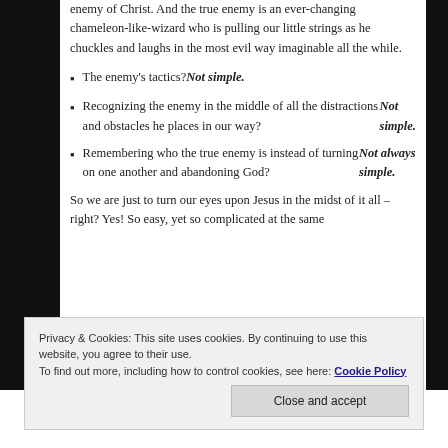enemy of Christ. And the true enemy is an ever-changing chameleon-like-wizard who is pulling our little strings as he chuckles and laughs in the most evil way imaginable all the while.
The enemy's tactics? Not simple.
Recognizing the enemy in the middle of all the distractions and obstacles he places in our way? Not simple.
Remembering who the true enemy is instead of turning on one another and abandoning God? Not always simple.
So we are just to turn our eyes upon Jesus in the midst of it all – right? Yes! So easy, yet so complicated at the same
Privacy & Cookies: This site uses cookies. By continuing to use this website, you agree to their use. To find out more, including how to control cookies, see here: Cookie Policy